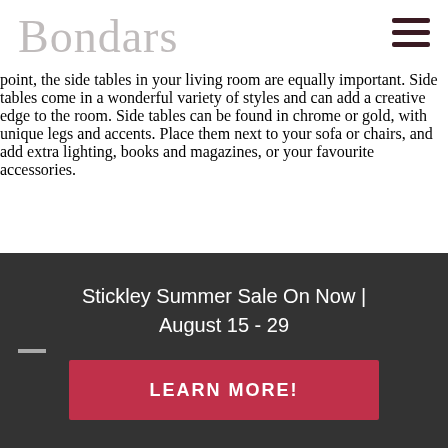Bondars
point, the side tables in your living room are equally important. Side tables come in a wonderful variety of styles and can add a creative edge to the room. Side tables can be found in chrome or gold, with unique legs and accents. Place them next to your sofa or chairs, and add extra lighting, books and magazines, or your favourite accessories.
Stickley Summer Sale On Now | August 15 - 29
LEARN MORE!